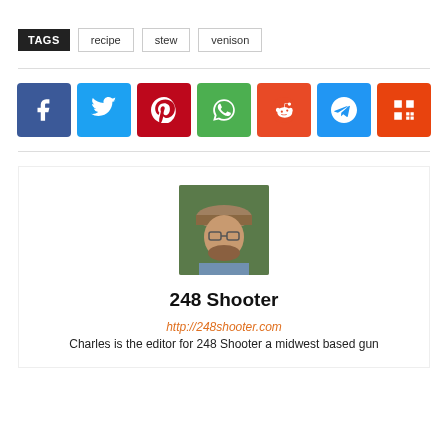TAGS  recipe  stew  venison
[Figure (infographic): Social sharing buttons: Facebook, Twitter, Pinterest, WhatsApp, Reddit, Telegram, Mix]
[Figure (photo): Profile photo of a person wearing a cap outdoors]
248 Shooter
http://248shooter.com
Charles is the editor for 248 Shooter a midwest based gun